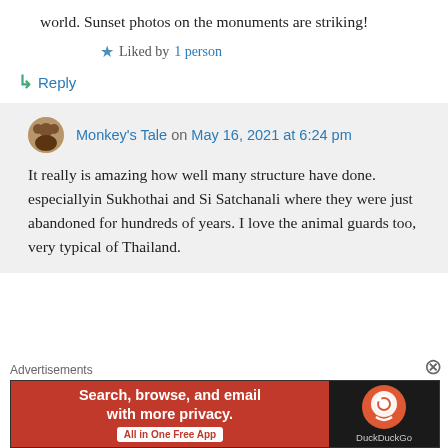world. Sunset photos on the monuments are striking!
★ Liked by 1 person
↳ Reply
Monkey's Tale on May 16, 2021 at 6:24 pm
It really is amazing how well many structure have done. especiallyin Sukhothai and Si Satchanali where they were just abandoned for hundreds of years. I love the animal guards too, very typical of Thailand.
Advertisements
[Figure (screenshot): DuckDuckGo advertisement banner: 'Search, browse, and email with more privacy. All in One Free App' with DuckDuckGo duck logo on dark background.]